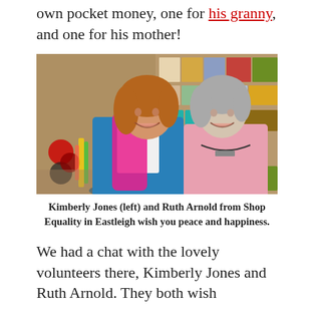own pocket money, one for his granny, and one for his mother!
[Figure (photo): Two women standing together and smiling inside a shop with shelves of products behind them. The woman on the left wears a blue jacket and pink scarf; the woman on the right wears a pink top with a necklace.]
Kimberly Jones (left) and Ruth Arnold from Shop Equality in Eastleigh wish you peace and happiness.
We had a chat with the lovely volunteers there, Kimberly Jones and Ruth Arnold. They both wish